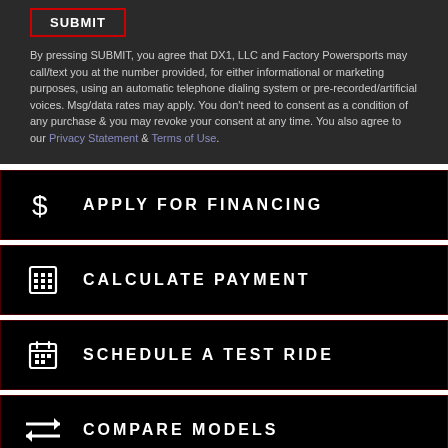SUBMIT
By pressing SUBMIT, you agree that DX1, LLC and Factory Powersports may call/text you at the number provided, for either informational or marketing purposes, using an automatic telephone dialing system or pre-recorded/artificial voices. Msg/data rates may apply. You don't need to consent as a condition of any purchase & you may revoke your consent at any time. You also agree to our Privacy Statement & Terms of Use.
APPLY FOR FINANCING
CALCULATE PAYMENT
SCHEDULE A TEST RIDE
COMPARE MODELS
INSURANCE QUOTE